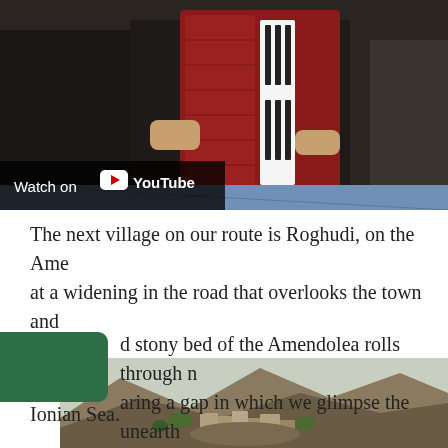[Figure (screenshot): Video thumbnail showing someone playing a red accordion, with a 'Watch on YouTube' overlay banner at the bottom left]
The next village on our route is Roghudi, on the Ame... at a widening in the road that overlooks the town and valley.
d stony bed of the Amendolea rolls through n... aring a gap in which we glimpse the unearth... Ionian Sea.
[Figure (photo): A hilltop village with ruins perched on rocky terrain with mountains in the background, likely Roghudi]